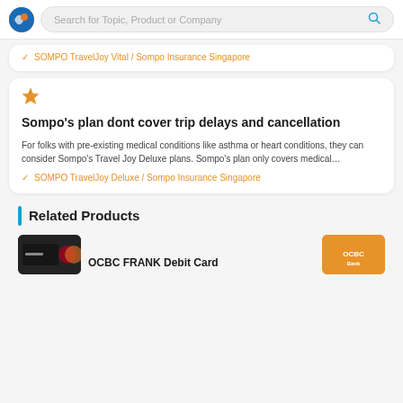Search for Topic, Product or Company
✓ SOMPO TravelJoy Vital / Sompo Insurance Singapore
[Figure (illustration): Star rating icon (orange star)]
Sompo's plan dont cover trip delays and cancellation
For folks with pre-existing medical conditions like asthma or heart conditions, they can consider Sompo's Travel Joy Deluxe plans. Sompo's plan only covers medical…
✓ SOMPO TravelJoy Deluxe / Sompo Insurance Singapore
Related Products
OCBC FRANK Debit Card